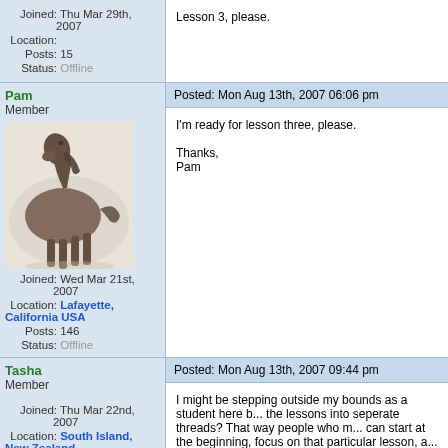Joined: Thu Mar 29th, 2007
Location:
Posts: 15
Status: Offline
Lesson 3, please.
Pam
Member
[Figure (photo): Avatar image of a dark horse in motion]
Joined: Wed Mar 21st, 2007
Location: Lafayette, California USA
Posts: 146
Status: Offline
Posted: Mon Aug 13th, 2007 06:06 pm
I'm ready for lesson three, please.

Thanks,
Pam
Tasha
Member
Joined: Thu Mar 22nd, 2007
Location: South Island, New Zealand
Posts: 53
Posted: Mon Aug 13th, 2007 09:44 pm
I might be stepping outside my bounds as a student here b... the lessons into seperate threads? That way people who m... can start at the beginning, focus on that particular lesson, a... rather than being tempted to try to rush things to try and ca...